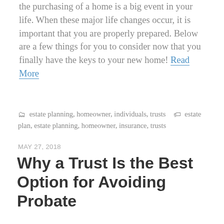the purchasing of a home is a big event in your life. When these major life changes occur, it is important that you are properly prepared. Below are a few things for you to consider now that you finally have the keys to your new home! Read More
estate planning, homeowner, individuals, trusts   estate plan, estate planning, homeowner, insurance, trusts
MAY 27, 2018
Why a Trust Is the Best Option for Avoiding Probate